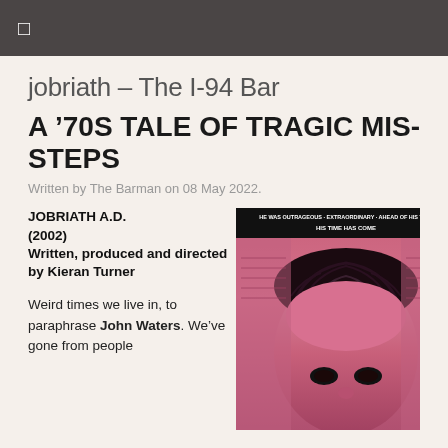☰
jobriath - The I-94 Bar
A '70S TALE OF TRAGIC MIS-STEPS
Written by The Barman on 08 May 2022.
JOBRIATH A.D. (2002)
Written, produced and directed by Kieran Turner
Weird times we live in, to paraphrase John Waters. We've gone from people
[Figure (photo): Pink-tinted documentary cover image of Jobriath A.D. showing a close-up of a man's face with dark hair, with text at the top reading 'HE WAS OUTRAGEOUS · EXTRAORDINARY · AHEAD OF HIS TIME HIS TIME HAS COME']